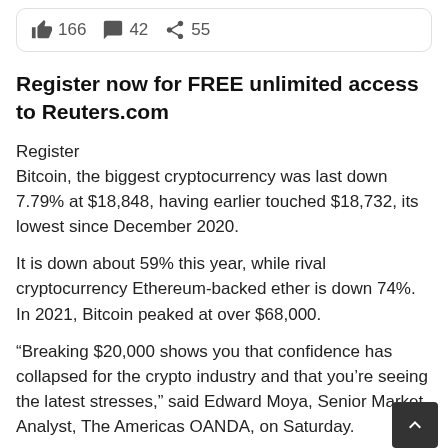[Figure (infographic): Social engagement bar showing thumbs up 166, comment bubble 42, share arrow 55]
Register now for FREE unlimited access to Reuters.com
Register
Bitcoin, the biggest cryptocurrency was last down 7.79% at $18,848, having earlier touched $18,732, its lowest since December 2020.
It is down about 59% this year, while rival cryptocurrency Ethereum-backed ether is down 74%. In 2021, Bitcoin peaked at over $68,000.
“Breaking $20,000 shows you that confidence has collapsed for the crypto industry and that you’re seeing the latest stresses,” said Edward Moya, Senior Market Analyst, The Americas OANDA, on Saturday.
Moya said that “even the loudest crypto cheerleaders f…